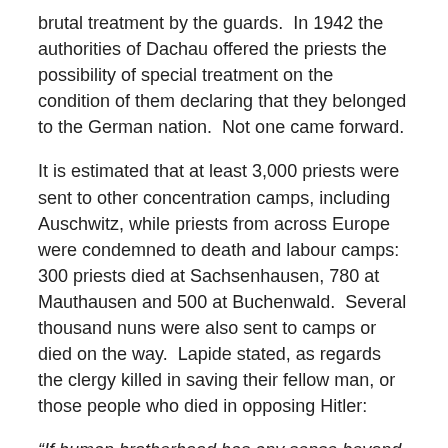brutal treatment by the guards.  In 1942 the authorities of Dachau offered the priests the possibility of special treatment on the condition of them declaring that they belonged to the German nation.  Not one came forward.
It is estimated that at least 3,000 priests were sent to other concentration camps, including Auschwitz, while priests from across Europe were condemned to death and labour camps: 300 priests died at Sachsenhausen, 780 at Mauthausen and 500 at Buchenwald.  Several thousand nuns were also sent to camps or died on the way.  Lapide stated, as regards the clergy killed in saving their fellow man, or those people who died in opposing Hitler:
“If human brotherhood has any sense beyond the grave then these failures have not died in vain.  Rabbi Arthur Gilbert eulogises all would-be rescuers when he writes;